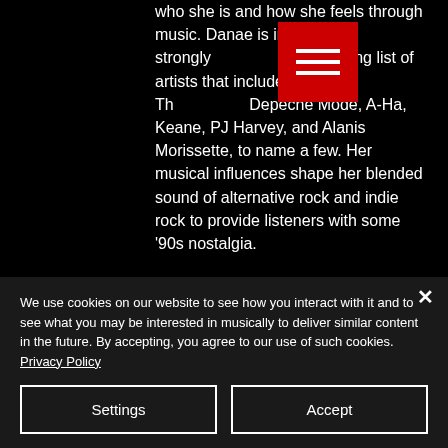who she is and how she feels through music. Danae is influenced strongly by a wide-ranging list of artists that include The Cure, Depeche Mode, A-Ha, Keane, PJ Harvey, and Alanis Morissette, to name a few. Her musical influences shape her blended sound of alternative rock and indie rock to provide listeners with some '90s nostalgia.

The seven-track EP, About Time, opens with the undeniably electric first single, "Wylde." Originally released at the end of October 2019, this track bleeds brilliance. It's incredibly
[Figure (other): Red square hamburger/menu button icon with three horizontal white lines]
We use cookies on our website to see how you interact with it and to see what you may be interested in musically to deliver similar content in the future. By accepting, you agree to our use of such cookies. Privacy Policy
Settings
Accept